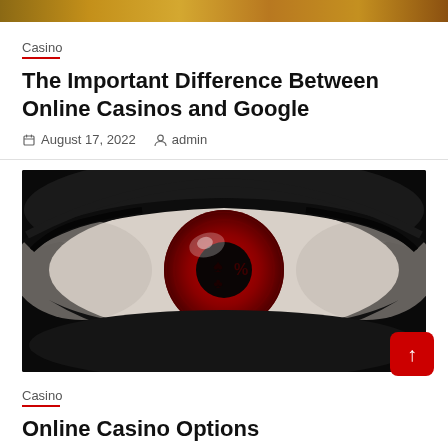[Figure (photo): Top banner image with warm golden/casino tones, partially cropped at top of page]
Casino
The Important Difference Between Online Casinos and Google
August 17, 2022   admin
[Figure (photo): Close-up of a dramatic eye with heavy black makeup. The iris is red with playing card suit symbols (spade, club) and a percent sign. The photo is in black and white except for the red iris.]
Casino
Online Casino Options